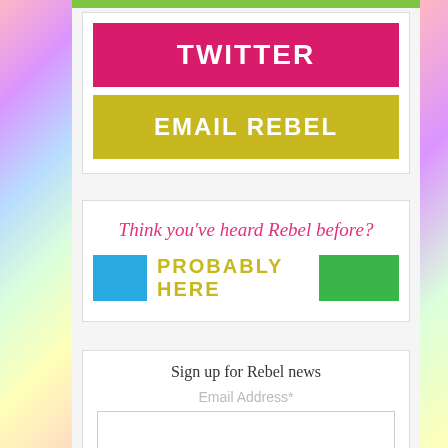[Figure (other): Pink/green/purple colorful glitter background on left and right sides]
TWITTER
EMAIL REBEL
Think you've heard Rebel before?
PROBABLY HERE
Sign up for Rebel news
Email Address*